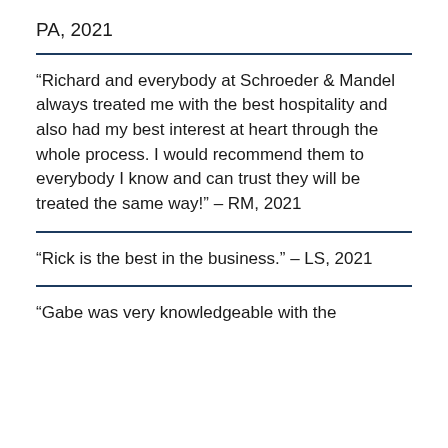PA, 2021
“Richard and everybody at Schroeder & Mandel always treated me with the best hospitality and also had my best interest at heart through the whole process. I would recommend them to everybody I know and can trust they will be treated the same way!” – RM, 2021
“Rick is the best in the business.” – LS, 2021
“Gabe was very knowledgeable with the